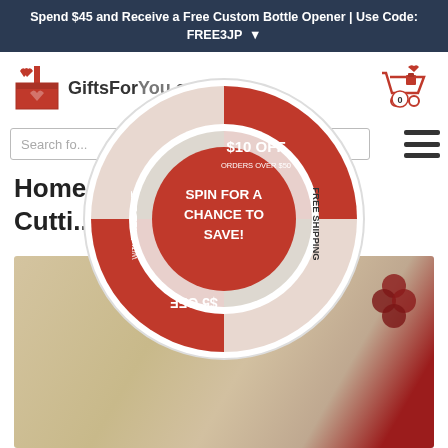Spend $45 and Receive a Free Custom Bottle Opener | Use Code: FREE3JP ▼
[Figure (logo): GiftsForYou.com logo with red gift box icon]
Search for...
Home
Cutti...
[Figure (infographic): Spin wheel overlay with sections: $10 OFF ORDERS OVER $50 (top), FREE SHIPPING (right), $5 OFF (bottom, upside down), FREE GIFT WITH PURCHASE (left), center button: SPIN FOR A CHANCE TO SAVE!]
[Figure (photo): Cutting board product photo with grapes]